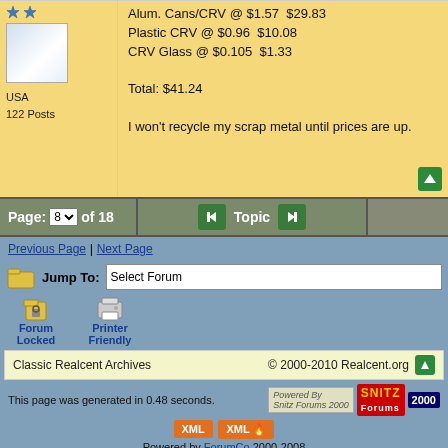Alum. Cans/CRV @ $1.57 $29.83
Plastic CRV @ $0.96 $10.08
CRV Glass @ $0.105 $1.33

Total: $41.24
I won't recycle my scrap metal until prices are up.
USA
122 Posts
Page: 8 of 18
Topic
Previous Page | Next Page
Jump To: Select Forum
Forum Locked
Printer Friendly
Classic Realcent Archives
© 2000-2010 Realcent.org
This page was generated in 0.48 seconds.
Powered by ForumCo 2000-2008
TOS - AUP - URA - Privacy Policy